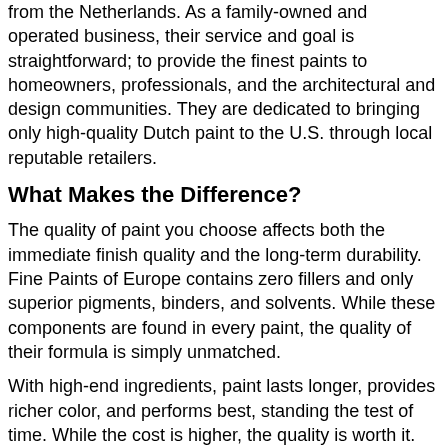from the Netherlands. As a family-owned and operated business, their service and goal is straightforward; to provide the finest paints to homeowners, professionals, and the architectural and design communities. They are dedicated to bringing only high-quality Dutch paint to the U.S. through local reputable retailers.
What Makes the Difference?
The quality of paint you choose affects both the immediate finish quality and the long-term durability. Fine Paints of Europe contains zero fillers and only superior pigments, binders, and solvents. While these components are found in every paint, the quality of their formula is simply unmatched.
With high-end ingredients, paint lasts longer, provides richer color, and performs best, standing the test of time. While the cost is higher, the quality is worth it.